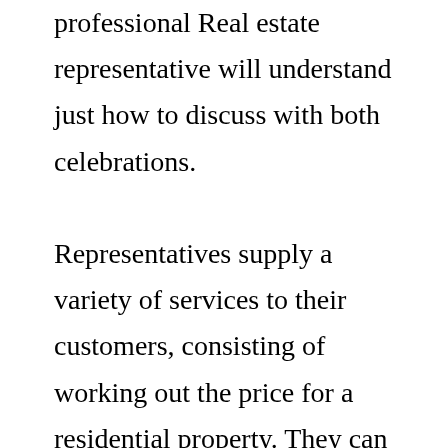professional Real estate representative will understand just how to discuss with both celebrations.

Representatives supply a variety of services to their customers, consisting of working out the price for a residential property. They can also offer details about the existing market conditions and trends. A realty representative will prepare the documents for marketing the residential or commercial property and can put a “Offer for sale” join a residential or